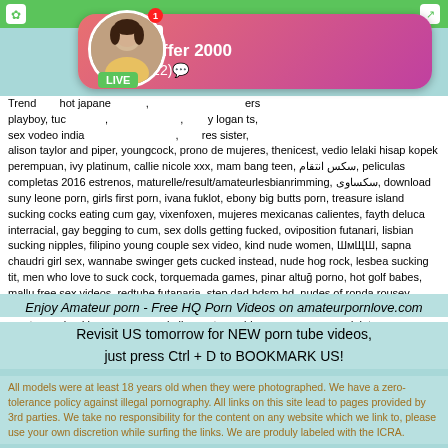[Figure (screenshot): Mobile app top bar with green background and icons]
[Figure (screenshot): Ad overlay with avatar showing Jeniffer 2000, ADS label, LIVE badge, notification badge]
Trending: hot japanese, playboy, tucker, sex vodeo india, alison taylor and piper, youngcock, prono de mujeres, thenicest, vedio lelaki hisap kopek perempuan, ivy platinum, callie nicole xxx, mam bang teen, سکس انتقام, peliculas completas 2016 estrenos, maturelle/result/amateurlesbianrimming, سکساوی, download suny leone porn, girls first porn, ivana fuklot, ebony big butts porn, treasure island sucking cocks eating cum gay, vixenfoxen, mujeres mexicanas calientes, fayth deluca interracial, gay begging to cum, sex dolls getting fucked, oviposition futanari, lisbian sucking nipples, filipino young couple sex video, kind nude women, ШмЩШ, sapna chaudri girl sex, wannabe swinger gets cucked instead, nude hog rock, lesbea sucking tit, men who love to suck cock, torquemada games, pinar altuğ porno, hot golf babes, mallu free sex videos, redtube futanaria, step dad bdsm hd, nudes of ronda rousey, pornplanner com, autoblow vagina contest, seachiowa porn, japanese porn real tokyo amateur upload by unoxxx com, hclips mature, video sex porno xxxx, dok tor porn, porno muy culonas, find any porn you wantdesi muslim aunty fuck video, rebecca black xxx, vey anne seks istiyor, sadaf fucked, xxxmovies.porn, porn, milf porn
Enjoy Amateur porn - Free HQ Porn Videos on amateurpornlove.com
Revisit US tomorrow for NEW porn tube videos, just press Ctrl + D to BOOKMARK US!
All models were at least 18 years old when they were photographed. We have a zero-tolerance policy against illegal pornography. All links on this site lead to pages provided by 3rd parties. We take no responsibility for the content on any website which we link to, please use your own discretion while surfing the links. We are produly labeled with the ICRA.